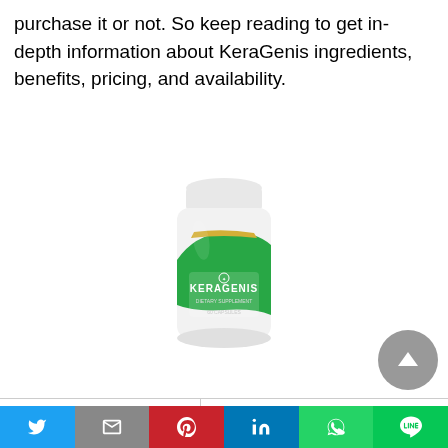purchase it or not. So keep reading to get in-depth information about KeraGenis ingredients, benefits, pricing, and availability.
[Figure (photo): White supplement bottle with green and gold label reading KERAGENIS, dietary supplement, 60 capsules]
| Product Name | KeraGenis |
| --- | --- |